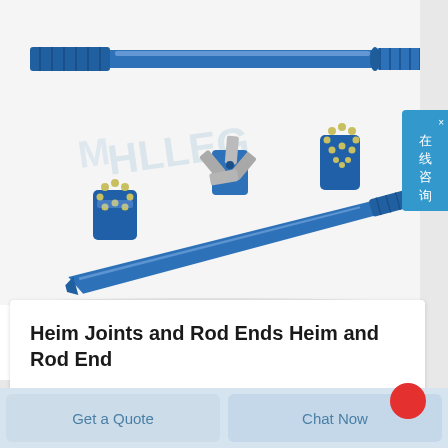[Figure (photo): Blue steel drilling tools: a long threaded rod/drill rod at the top, three drill bit heads (button bits and cross bit) in the middle, and a tapered chisel/moil point drill rod at the bottom, with a watermark logo in the background.]
Heim Joints and Rod Ends Heim and Rod End
2020 2 4 nbsp 0183 32 Quality Heim Joints
Get a Quote
Chat Now